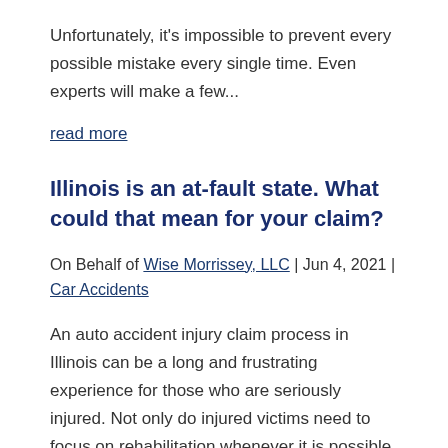Unfortunately, it's impossible to prevent every possible mistake every single time. Even experts will make a few...
read more
Illinois is an at-fault state. What could that mean for your claim?
On Behalf of Wise Morrissey, LLC | Jun 4, 2021 | Car Accidents
An auto accident injury claim process in Illinois can be a long and frustrating experience for those who are seriously injured. Not only do injured victims need to focus on rehabilitation whenever it is possible, but